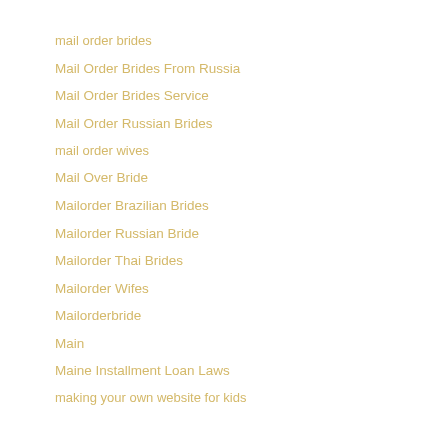mail order brides
Mail Order Brides From Russia
Mail Order Brides Service
Mail Order Russian Brides
mail order wives
Mail Over Bride
Mailorder Brazilian Brides
Mailorder Russian Bride
Mailorder Thai Brides
Mailorder Wifes
Mailorderbride
Main
Maine Installment Loan Laws
making your own website for kids